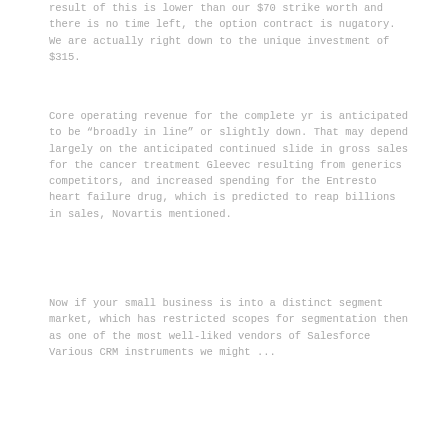result of this is lower than our $70 strike worth and there is no time left, the option contract is nugatory. We are actually right down to the unique investment of $315.
Core operating revenue for the complete yr is anticipated to be “broadly in line” or slightly down. That may depend largely on the anticipated continued slide in gross sales for the cancer treatment Gleevec resulting from generics competitors, and increased spending for the Entresto heart failure drug, which is predicted to reap billions in sales, Novartis mentioned.
Now if your small business is into a distinct segment market, which has restricted scopes for segmentation then as one of the most well-liked vendors of Salesforce Various CRM instruments we might ...